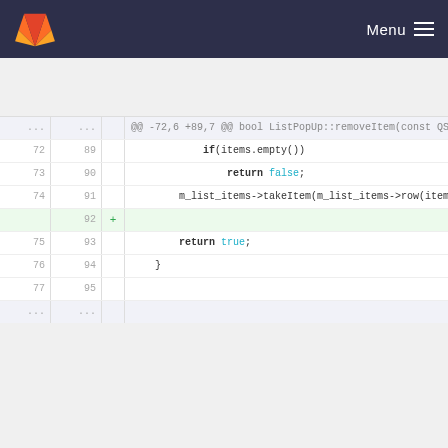GitLab Menu
[Figure (screenshot): GitLab code diff view showing lines 72-77 (old) and 89-95 (new) of a C++ file with a removed and added line in a ListPopUp::removeItem function]
Please register or sign in to comment